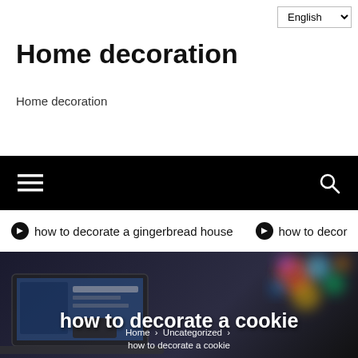English (language selector)
Home decoration
Home decoration
[Figure (screenshot): Black navigation bar with hamburger menu icon on the left and search icon on the right]
➔ how to decorate a gingerbread house   ➔ how to decor
[Figure (photo): Dark hero image showing a laptop with a colorful bokeh lights background. Large white bold text reads 'how to decorate a cookie' with breadcrumb navigation below: Home > Uncategorized > how to decorate a cookie]